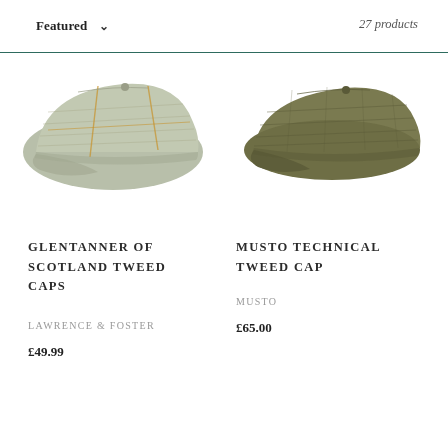Featured  ∨    27 products
[Figure (illustration): A light grey-green tweed flat cap with orange/tan windowpane check pattern, photographed from the side on a white background.]
GLENTANNER OF SCOTLAND TWEED CAPS
LAWRENCE & FOSTER
£49.99
[Figure (illustration): A dark olive/khaki tweed flat cap photographed from the side on a white background.]
MUSTO TECHNICAL TWEED CAP
MUSTO
£65.00